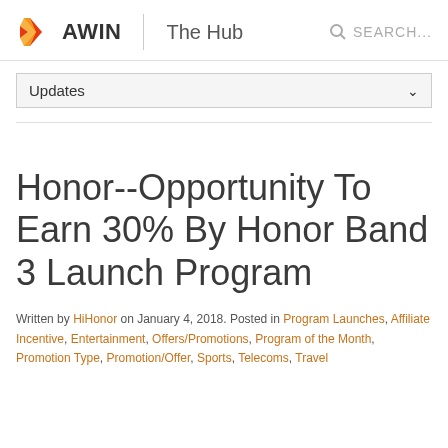AWIN | The Hub SEARCH...
Updates
Honor--Opportunity To Earn 30% By Honor Band 3 Launch Program
Written by HiHonor on January 4, 2018. Posted in Program Launches, Affiliate Incentive, Entertainment, Offers/Promotions, Program of the Month, Promotion Type, Promotion/Offer, Sports, Telecoms, Travel